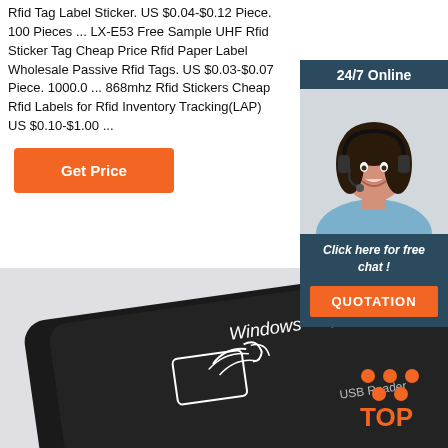Rfid Tag Label Sticker. US $0.04-$0.12 Piece. 100 Pieces ... LX-E53 Free Sample UHF Rfid Sticker Tag Cheap Price Rfid Paper Label Wholesale Passive Rfid Tags. US $0.03-$0.07 Piece. 1000.0 ... 868mhz Rfid Stickers Cheap Rfid Labels for Rfid Inventory Tracking(LAP) US $0.10-$1.00 ...
[Figure (illustration): Orange 'Get Price' button]
[Figure (photo): Chat widget: 24/7 Online bar, photo of smiling woman with headset, 'Click here for free chat!' text, and orange QUOTATION button]
[Figure (photo): Bottom photo showing a black USB RFID card reader device with 'Windows' label and hand-over-card icon, FC logo, USB Reader text, and TOP orange logo overlay]